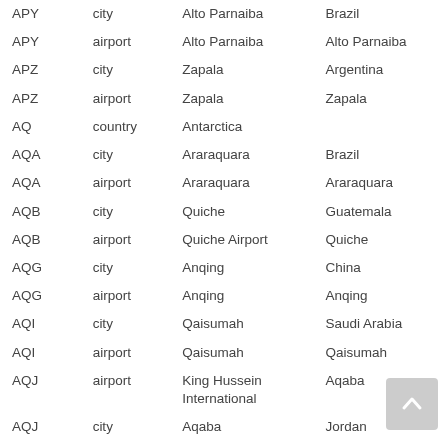| Code | Type | Name | Region |
| --- | --- | --- | --- |
| APY | city | Alto Parnaiba | Brazil |
| APY | airport | Alto Parnaiba | Alto Parnaiba |
| APZ | city | Zapala | Argentina |
| APZ | airport | Zapala | Zapala |
| AQ | country | Antarctica |  |
| AQA | city | Araraquara | Brazil |
| AQA | airport | Araraquara | Araraquara |
| AQB | city | Quiche | Guatemala |
| AQB | airport | Quiche Airport | Quiche |
| AQG | city | Anqing | China |
| AQG | airport | Anqing | Anqing |
| AQI | city | Qaisumah | Saudi Arabia |
| AQI | airport | Qaisumah | Qaisumah |
| AQJ | airport | King Hussein International | Aqaba |
| AQJ | city | Aqaba | Jordan |